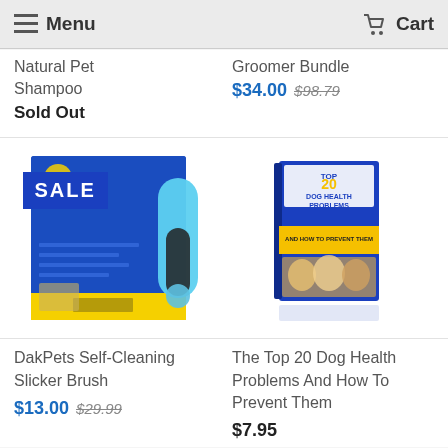Menu | Cart
Natural Pet Shampoo
Groomer Bundle
$34.00 $98.79
Sold Out
[Figure (photo): DakPets Self-Cleaning Slicker Brush product image with SALE badge]
[Figure (photo): The Top 20 Dog Health Problems And How To Prevent Them book cover with dogs]
DakPets Self-Cleaning Slicker Brush
The Top 20 Dog Health Problems And How To Prevent Them
$13.00 $29.99
$7.95